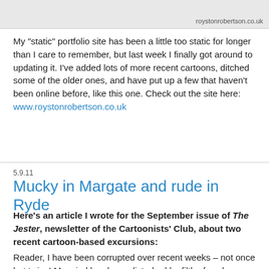[Figure (illustration): Top portion of a cartoon/portfolio image with a watermark text 'roystonrobertson.co.uk' in the lower right corner]
My "static" portfolio site has been a little too static for longer than I care to remember, but last week I finally got around to updating it. I've added lots of more recent cartoons, ditched some of the older ones, and have put up a few that haven't been online before, like this one. Check out the site here: www.roystonrobertson.co.uk
5.9.11
Mucky in Margate and rude in Ryde
Here's an article I wrote for the September issue of The Jester, newsletter of the Cartoonists' Club, about two recent cartoon-based excursions:
Reader, I have been corrupted over recent weeks – not once but twice! My mind has been disturbed by filth of such